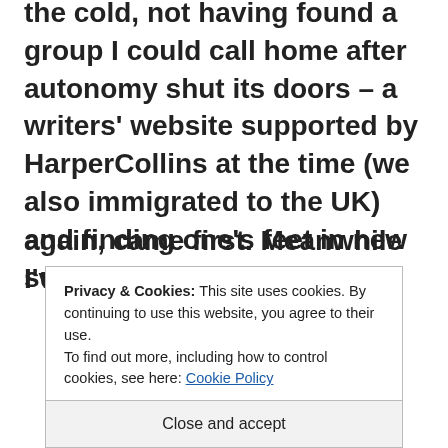the cold, not having found a group I could call home after autonomy shut its doors – a writers' website supported by HarperCollins at the time (we also immigrated to the UK) and finding one's feet in new surrounds, not easy. So, coming across the RRBC newsletter and regularly reading WHO'S ON THE SHELF WITH NONNIE JULES helped me to get some direction. I think my subscription is up for renewal in May, but I lost time getting into again, came first. Meanwhile I've tried to make
Privacy & Cookies: This site uses cookies. By continuing to use this website, you agree to their use.
To find out more, including how to control cookies, see here: Cookie Policy
Close and accept